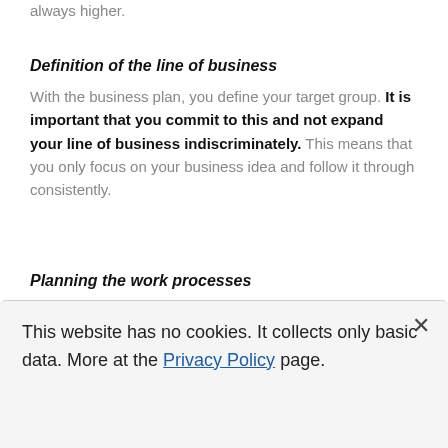always higher.
Definition of the line of business
With the business plan, you define your target group. It is important that you commit to this and not expand your line of business indiscriminately. This means that you only focus on your business idea and follow it through consistently.
Planning the work processes
This website has no cookies. It collects only basic data. More at the Privacy Policy page.